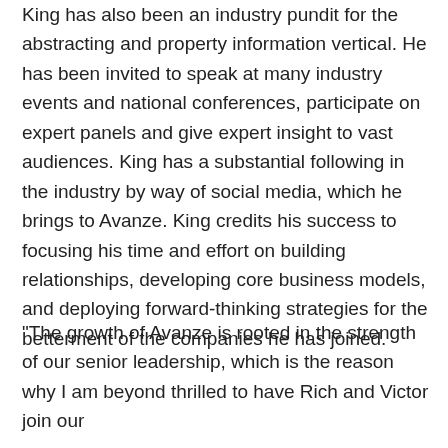King has also been an industry pundit for the abstracting and property information vertical. He has been invited to speak at many industry events and national conferences, participate on expert panels and give expert insight to vast audiences. King has a substantial following in the industry by way of social media, which he brings to Avanze. King credits his success to focusing his time and effort on building relationships, developing core business models, and deploying forward-thinking strategies for the betterment of the companies he has joined.
"The growth of Avanze is rooted in the strength of our senior leadership, which is the reason why I am beyond thrilled to have Rich and Victor join our